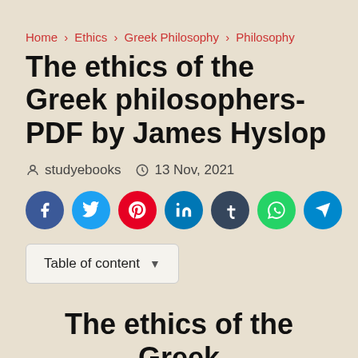Home > Ethics > Greek Philosophy > Philosophy
The ethics of the Greek philosophers- PDF by James Hyslop
studyebooks   13 Nov, 2021
[Figure (infographic): Social sharing buttons: Facebook (blue), Twitter (light blue), Pinterest (red), LinkedIn (dark blue), Tumblr (dark navy), WhatsApp (green), Telegram (blue)]
Table of content
The ethics of the Greek